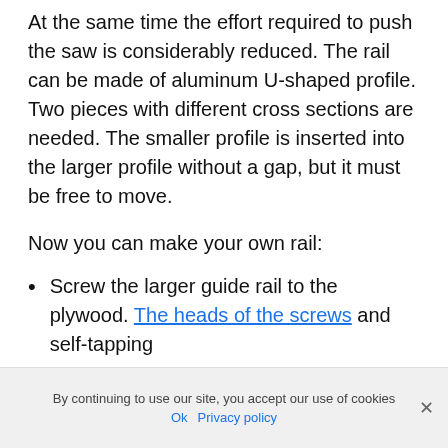At the same time the effort required to push the saw is considerably reduced. The rail can be made of aluminum U-shaped profile. Two pieces with different cross sections are needed. The smaller profile is inserted into the larger profile without a gap, but it must be free to move.
Now you can make your own rail:
Screw the larger guide rail to the plywood. The heads of the screws and self-tapping
By continuing to use our site, you accept our use of cookies
Ok   Privacy policy